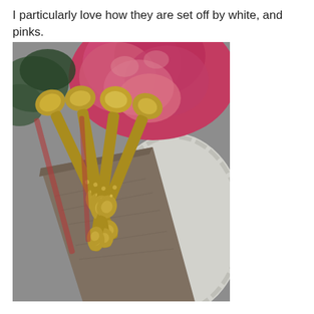I particularly love how they are set off by white, and pinks.
[Figure (photo): Photograph of ornate gold-plated spoons with intricate decorative handles resting on a brown linen napkin and a white scallop-edged plate, with a bright pink peony flower in the background.]